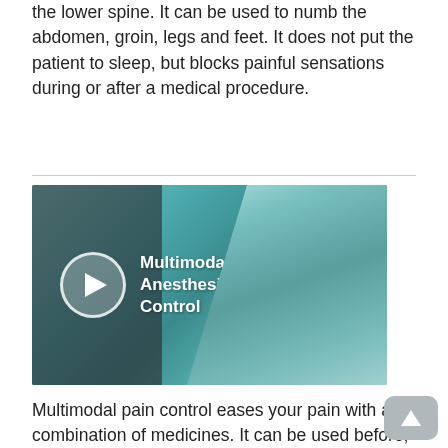the lower spine. It can be used to numb the abdomen, groin, legs and feet. It does not put the patient to sleep, but blocks painful sensations during or after a medical procedure.
[Figure (photo): Video thumbnail showing a surgeon in surgical mask and cap in an operating room. A play button icon is overlaid on the left side. Text overlay reads 'Multimodal Anesthesia and Pain Control'.]
Multimodal pain control eases your pain with a combination of medicines. It can be used before, during and after a surgical procedure. The goal is to reduce the use of narcotics and their unpleasant side effects.